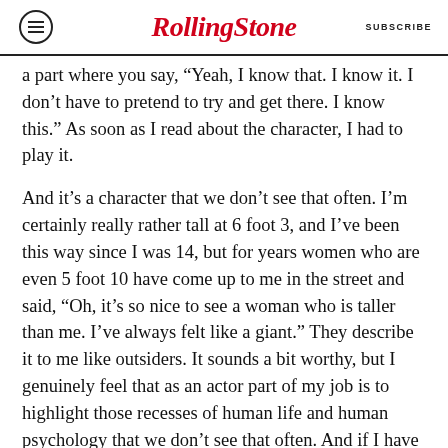RollingStone  SUBSCRIBE
a part where you say, “Yeah, I know that. I know it. I don’t have to pretend to try and get there. I know this.” As soon as I read about the character, I had to play it.
And it’s a character that we don’t see that often. I’m certainly really rather tall at 6 foot 3, and I’ve been this way since I was 14, but for years women who are even 5 foot 10 have come up to me in the street and said, “Oh, it’s so nice to see a woman who is taller than me. I’ve always felt like a giant.” They describe it to me like outsiders. It sounds a bit worthy, but I genuinely feel that as an actor part of my job is to highlight those recesses of human life and human psychology that we don’t see that often. And if I have the opportunity,